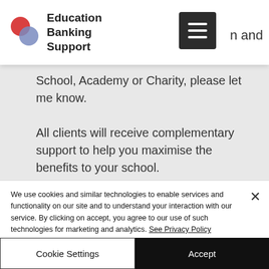Education Banking Support
School, Academy or Charity, please let me know.
All clients will receive complementary support to help you maximise the benefits to your school.
We use cookies and similar technologies to enable services and functionality on our site and to understand your interaction with our service. By clicking on accept, you agree to our use of such technologies for marketing and analytics. See Privacy Policy